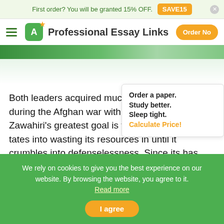First order? You will be granted 15% OFF. SAVE15
Professional Essay Links  Order No
[Figure (screenshot): Green decorative bar across the page]
Both leaders acquired much experience and ex... during the Afghan war with the Soviet Union. Zawahiri's greatest goal is to trap the United States into wasting its resources in until it crumbles into defenselessness. Since its has never participated scale war. The group uses guerilla tactics in the fo... surprise attacks on major US infrastructure around the
Order a paper. Study better. Sleep tight. Calculate Price!
We rely on cookies to give you the best experience on our website. By browsing the website, you agree to it. Read more
I agree